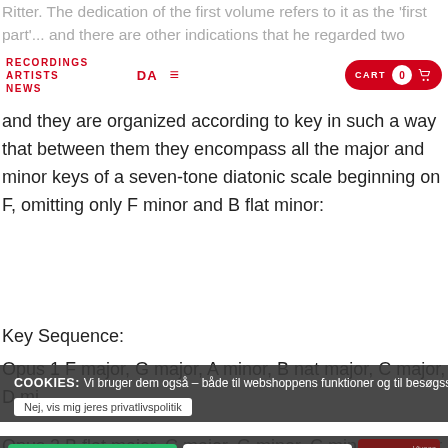Ritter. The dedication of the first volume refers to it as the 'first part'... and there are other indications that he regarded two volumes as a unit: they are written for the same instrumental combination, each contains seven works,
RECORDINGS ARTISTS NEWS  DA  ≡  CART 0
and they are organized according to key in such a way that between them they encompass all the major and minor keys of a seven-tone diatonic scale beginning on F, omitting only F minor and B flat minor:
Key Sequence:
Opus 1 F major, G major, A minor, B nat major, C major, D minor...
Opus 2 B flat major, C major, G minor, C minor, A major, E ma...
COOKIES: Vi bruger dem også – både til webshoppens funktioner og til besøgsstatistik.
Nej, vis mig jeres privatlivspolitik
OK
DECLINE
BUY ALBUM Vivace